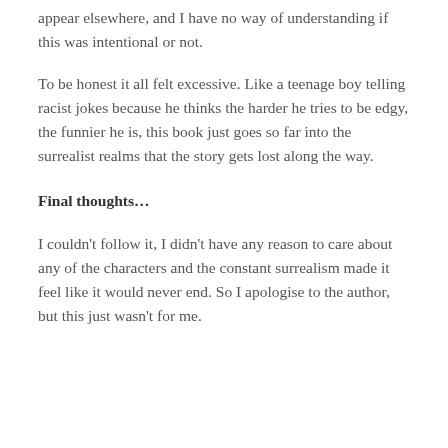appear elsewhere, and I have no way of understanding if this was intentional or not.
To be honest it all felt excessive. Like a teenage boy telling racist jokes because he thinks the harder he tries to be edgy, the funnier he is, this book just goes so far into the surrealist realms that the story gets lost along the way.
Final thoughts…
I couldn't follow it, I didn't have any reason to care about any of the characters and the constant surrealism made it feel like it would never end. So I apologise to the author, but this just wasn't for me.